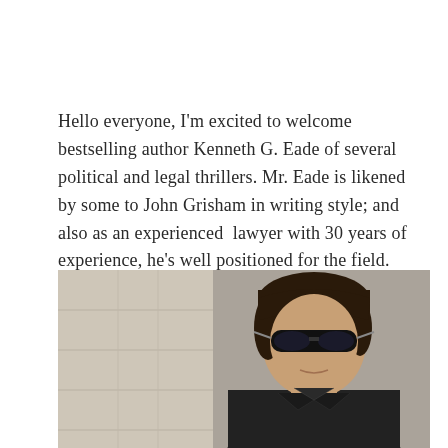Hello everyone, I'm excited to welcome bestselling author Kenneth G. Eade of several political and legal thrillers. Mr. Eade is likened by some to John Grisham in writing style; and also as an experienced lawyer with 30 years of experience, he's well positioned for the field.
[Figure (photo): Photograph of a man with dark hair wearing aviator sunglasses and a dark leather jacket, standing in front of a stone wall background. The photo is cropped at roughly chest level.]